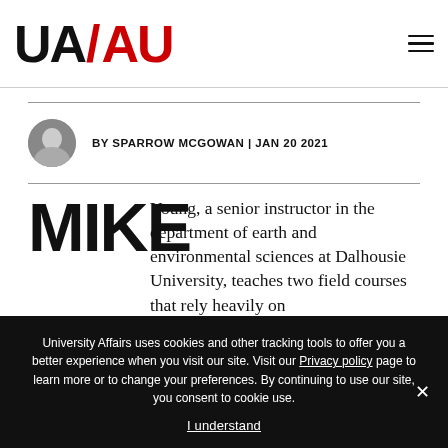[Figure (logo): UA/AU University Affairs logo with UA in black and AU in red, slash in red]
BY SPARROW MCGOWAN | JAN 20 2021
MIKE Young, a senior instructor in the department of earth and environmental sciences at Dalhousie University, teaches two field courses that rely heavily on
University Affairs uses cookies and other tracking tools to offer you a better experience when you visit our site. Visit our Privacy policy page to learn more or to change your preferences. By continuing to use our site, you consent to cookie use.
I understand